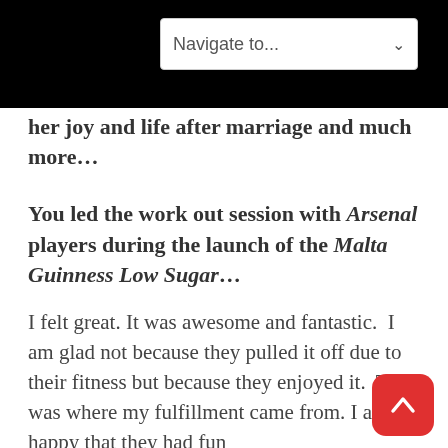Navigate to...
her joy and life after marriage and much more…
You led the work out session with Arsenal players during the launch of the Malta Guinness Low Sugar…
I felt great. It was awesome and fantastic.  I am glad not because they pulled it off due to their fitness but because they enjoyed it.  That was where my fulfillment came from. I am happy that they had fun